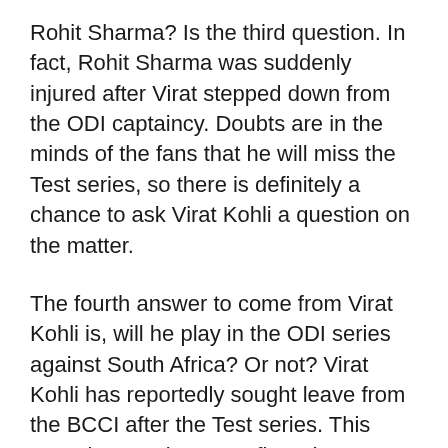Rohit Sharma? Is the third question. In fact, Rohit Sharma was suddenly injured after Virat stepped down from the ODI captaincy. Doubts are in the minds of the fans that he will miss the Test series, so there is definitely a chance to ask Virat Kohli a question on the matter.
The fourth answer to come from Virat Kohli is, will he play in the ODI series against South Africa? Or not? Virat Kohli has reportedly sought leave from the BCCI after the Test series. This news has not been confirmed. But, there is such a debate going on all over the media world. Virat Kohli himself is likely to answer this question at a press conference on Wednesday.